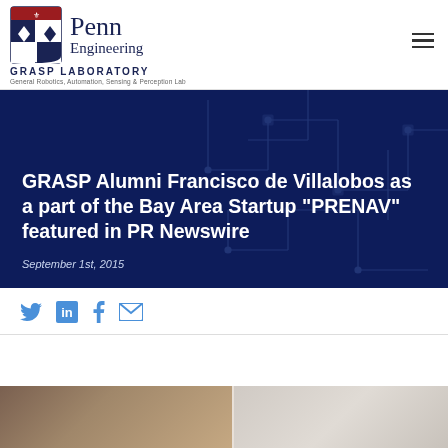Penn Engineering GRASP LABORATORY — General Robotics, Automation, Sensing & Perception Lab
GRASP Alumni Francisco de Villalobos as a part of the Bay Area Startup “PRENAV” featured in PR Newswire
September 1st, 2015
[Figure (screenshot): Social media sharing icons: Twitter (bird), LinkedIn (in), Facebook (f), Email (envelope)]
[Figure (photo): Photo strip showing two people in an indoor setting, partially visible at bottom of page]